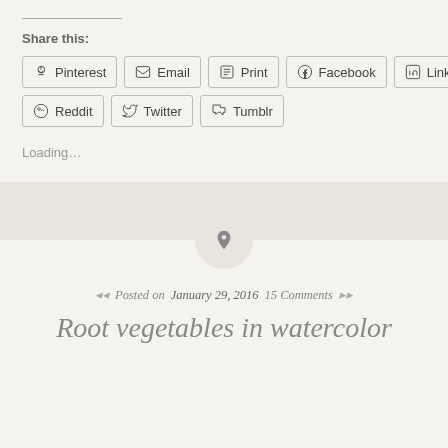Share this:
Pinterest
Email
Print
Facebook
LinkedIn
Reddit
Twitter
Tumblr
Loading...
Posted on January 29, 2016 15 Comments
Root vegetables in watercolor